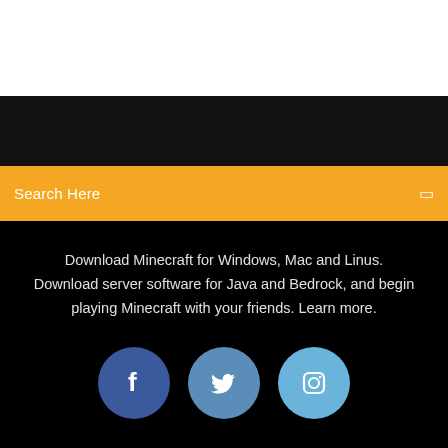[Figure (screenshot): White header area at top of page]
[Figure (screenshot): Black navigation bar area]
Search Here
Download Minecraft for Windows, Mac and Linus. Download server software for Java and Bedrock, and begin playing Minecraft with your friends. Learn more.
[Figure (infographic): Three social media icons: Facebook (dark blue circle with f), Twitter (medium blue circle with bird), Instagram (light blue circle with camera)]